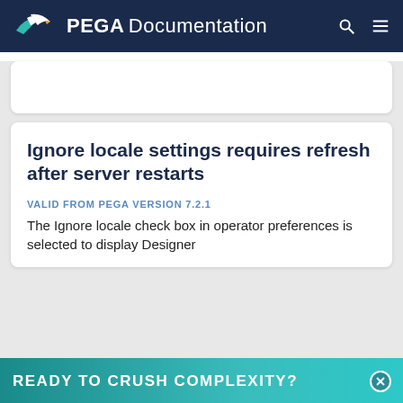PEGA Documentation
Ignore locale settings requires refresh after server restarts
VALID FROM PEGA VERSION 7.2.1
The Ignore locale check box in operator preferences is selected to display Designer
[Figure (infographic): READY TO CRUSH COMPLEXITY? promotional banner with teal gradient background and close button]
By using this site, you agree to the use of cookies. Read our Privacy Policy
Accept and continue   About cookies